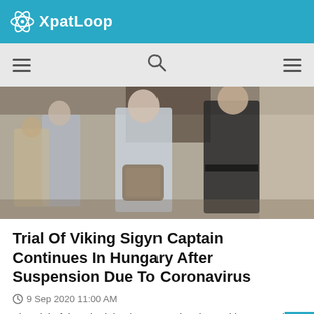XpatLoop
[Figure (photo): A Ukrainian boat captain, an older man in a light blue polo shirt carrying a large bag, being escorted by law enforcement officers through what appears to be a courthouse corridor.]
Trial Of Viking Sigyn Captain Continues In Hungary After Suspension Due To Coronavirus
9 Sep 2020 11:00 AM
The trial of the Ukrainian boat captain, charged in connection with the deadly boat collision on